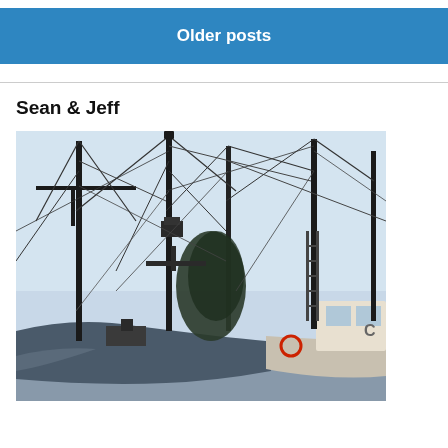Older posts
Sean & Jeff
[Figure (photo): Photograph of commercial fishing boats docked at a harbor, showing tall masts, rigging, nets, and equipment on the vessels against a light blue sky.]